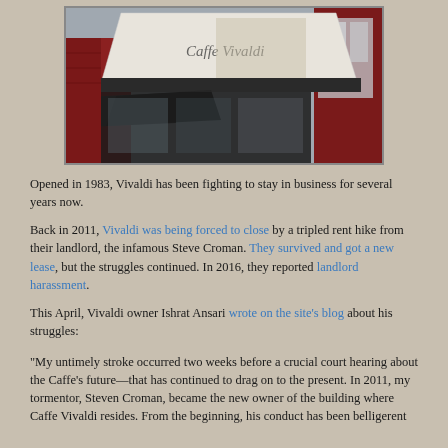[Figure (photo): Exterior storefront photo of Caffe Vivaldi showing a striped awning with the cafe name written in script, and dark red/maroon facade.]
Opened in 1983, Vivaldi has been fighting to stay in business for several years now.
Back in 2011, Vivaldi was being forced to close by a tripled rent hike from their landlord, the infamous Steve Croman. They survived and got a new lease, but the struggles continued. In 2016, they reported landlord harassment.
This April, Vivaldi owner Ishrat Ansari wrote on the site's blog about his struggles:
"My untimely stroke occurred two weeks before a crucial court hearing about the Caffe's future—that has continued to drag on to the present. In 2011, my tormentor, Steven Croman, became the new owner of the building where Caffe Vivaldi resides. From the beginning, his conduct has been belligerent